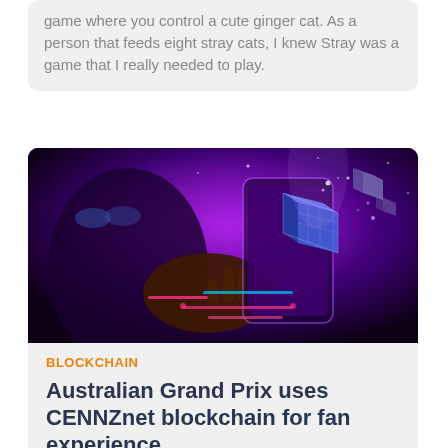game where you control a cute ginger cat. As a person that feeds eight stray cats, I knew Stray was a game that I really needed to play.
[Figure (photo): Dark purple-toned image of a hand interacting with a glowing smartphone displaying blockchain/crypto cube graphics floating above it, with neon pink and blue light elements in the background.]
BLOCKCHAIN
Australian Grand Prix uses CENNZnet blockchain for fan experience
CENNZnet was employed by Power'd Digital to deliver the Formula 1